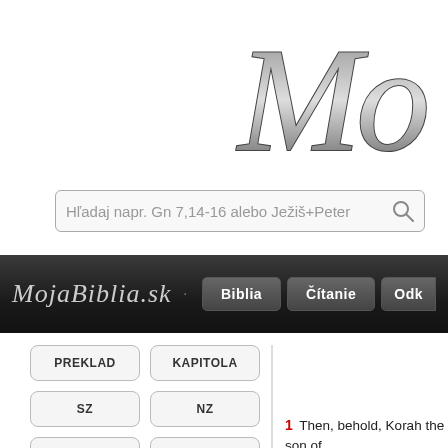[Figure (logo): Decorative cursive script logo 'Mo' or similar in gray/silver with shadow, partially visible at top-right]
[Figure (screenshot): Search bar with placeholder text 'Hľadaj napr. Gn 7,14-16 alebo Ježiš+Peter' and magnifying glass icon]
[Figure (screenshot): Navigation bar with cursive 'MojaBiblia.sk' logo, home icon, and nav buttons: Biblia, Čítanie, Odk...]
[Figure (screenshot): Left sidebar with buttons: PREKLAD, KAPITOLA, SZ, NZ, two icon buttons, EVANJELIÁ, CITÁTY, PARABOLY, DETAILY]
[Figure (screenshot): Arrow navigation button pointing right]
1 Then, behold, Korah the son of ... Eliab, and also On the son of Pel...